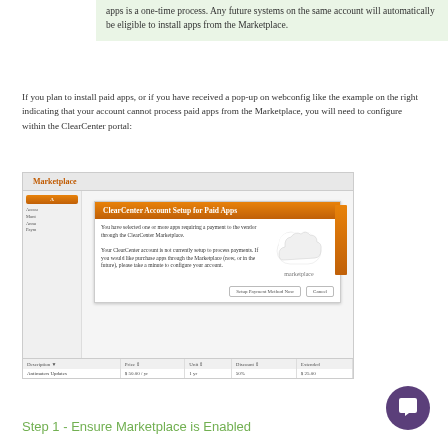apps is a one-time process. Any future systems on the same account will automatically be eligible to install apps from the Marketplace.
If you plan to install paid apps, or if you have received a pop-up on webconfig like the example on the right indicating that your account cannot process paid apps from the Marketplace, you will need to configure within the ClearCenter portal:
[Figure (screenshot): Screenshot of the ClearCenter Marketplace interface showing the 'ClearCenter Account Setup for Paid Apps' dialog with options to setup payment method or cancel, along with a marketplace icon and a table showing Description, Price, Unit, Discount, Extended columns with Antimaters Updates row.]
Step 1 - Ensure Marketplace is Enabled